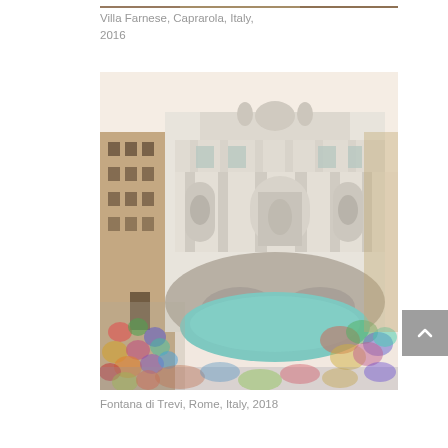[Figure (photo): Top portion of Villa Farnese photo, partially cropped at top of page]
Villa Farnese, Caprarola, Italy, 2016
[Figure (photo): Fontana di Trevi (Trevi Fountain) in Rome, Italy. Large baroque fountain with white marble sculptures, surrounded by large crowds of tourists. Taken in 2018.]
Fontana di Trevi, Rome, Italy, 2018